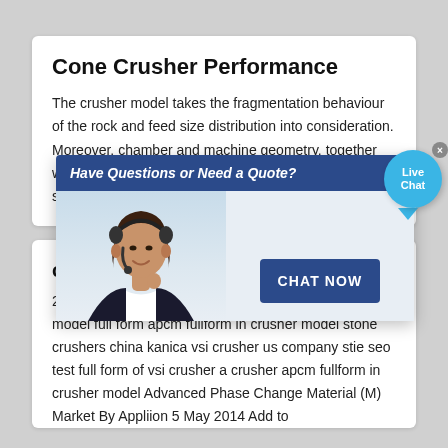Cone Crusher Performance
The crusher model takes the fragmentation behaviour of the rock and feed size distribution into consideration. Moreover, chamber and machine geometry, together with machine parameters such as closed side setting, stroke and eccentric speed, is accounted for.
[Figure (screenshot): Live chat popup with agent photo, 'Have Questions or Need a Quote?' header, and CHAT NOW button. A 'Live Chat' bubble appears in the top right corner.]
crusher model full form
2020-11-17 · apcm fullform di crusher model . crusher model full form apcm fullform in crusher model stone crushers china kanica vsi crusher us company stie seo test full form of vsi crusher a crusher apcm fullform in crusher model Advanced Phase Change Material (M) Market By Appliion 5 May 2014 Add to PlaylistPlayShare Video apcm fullform in crusher